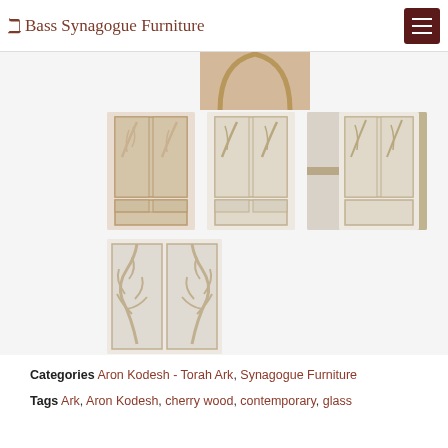Bass Synagogue Furniture
[Figure (photo): Multiple product photos of synagogue Aron Kodesh (Torah Ark) furniture pieces showing wooden cabinets with decorative glass door panels featuring organic branch/tree patterns. Five thumbnail images shown: four in a row and one larger image below left.]
Categories Aron Kodesh - Torah Ark, Synagogue Furniture
Tags Ark, Aron Kodesh, cherry wood, contemporary, glass